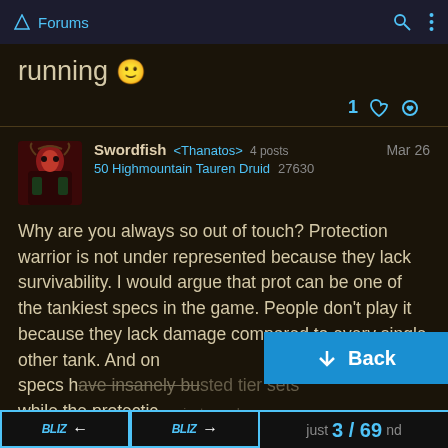Forums
running 🙂
1 ♥ 🔗
Swordfish <Thanatos> 4 posts  Mar 26
50 Highmountain Tauren Druid  27630
Why are you always so out of touch? Protection warrior is not under represented because they lack survivability. I would argue that prot can be one of the tankiest specs in the game. People don't play it because they lack damage compared to every single other tank. And on other tank specs have insanely busted tier sets while the protectio...just ...and
BLIZ ← BLIZ → 3 / 69